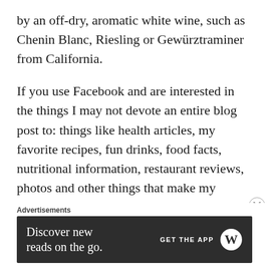by an off-dry, aromatic white wine, such as Chenin Blanc, Riesling or Gewürztraminer from California.
If you use Facebook and are interested in the things I may not devote an entire blog post to: things like health articles, my favorite recipes, fun drinks, food facts, nutritional information, restaurant reviews, photos and other things that make my mouth water, I have a very active page on Facebook you can visit too:
Advertisements
[Figure (other): WordPress advertisement banner with dark background. Left side reads 'Discover new reads on the go.' Right side shows 'GET THE APP' with WordPress logo.]